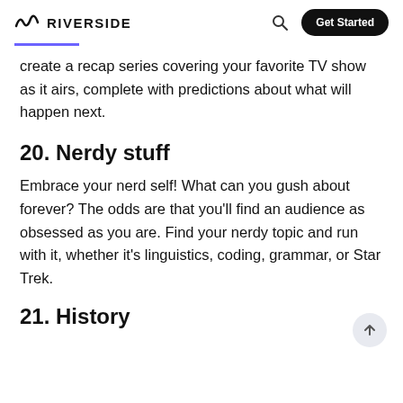RIVERSIDE
create a recap series covering your favorite TV show as it airs, complete with predictions about what will happen next.
20. Nerdy stuff
Embrace your nerd self! What can you gush about forever? The odds are that you'll find an audience as obsessed as you are. Find your nerdy topic and run with it, whether it's linguistics, coding, grammar, or Star Trek.
21. History